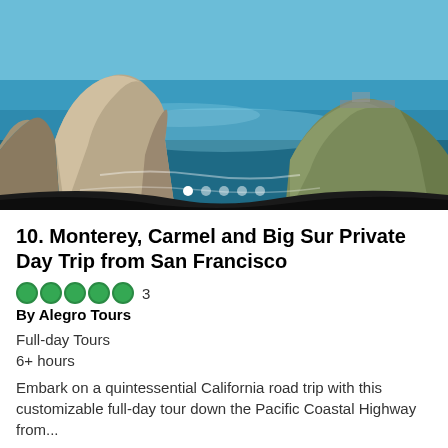[Figure (photo): Coastal California scene with large rock formations on either side, turquoise-blue ocean water in the middle, under a clear blue sky]
10. Monterey, Carmel and Big Sur Private Day Trip from San Francisco
3
By Alegro Tours
Full-day Tours
6+ hours
Embark on a quintessential California road trip with this customizable full-day tour down the Pacific Coastal Highway from...
Free cancellation
from
USD 896.47